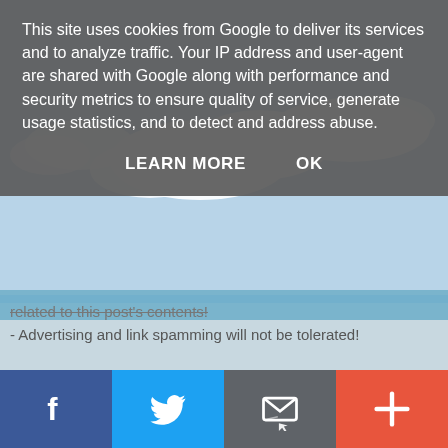This site uses cookies from Google to deliver its services and to analyze traffic. Your IP address and user-agent are shared with Google along with performance and security metrics to ensure quality of service, generate usage statistics, and to detect and address abuse.
LEARN MORE   OK
related to this post's contents!
- Advertising and link spamming will not be tolerated!
< Home >
View web version
Powered by Blogger.
[Figure (screenshot): Bottom social share bar with Facebook (blue), Twitter (light blue), email/envelope (dark grey), and plus/more (red-orange) buttons.]